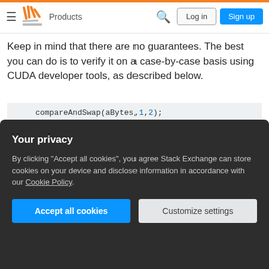≡  [StackOverflow logo]  Products  🔍  Log in  Sign up
Keep in mind that there are no guarantees. The best you can do is to verify it on a case-by-case basis using CUDA developer tools, as described below.
[Figure (screenshot): Code block showing CUDA C++ kernel function: __global__ void testSortingNetwork4(const char * aInput, ch { const int NBytes = 4; char aBytes[NBytes]; // copy input to local array ...]
Your privacy
By clicking "Accept all cookies", you agree Stack Exchange can store cookies on your device and disclose information in accordance with our Cookie Policy.
[Accept all cookies] [Customize settings]